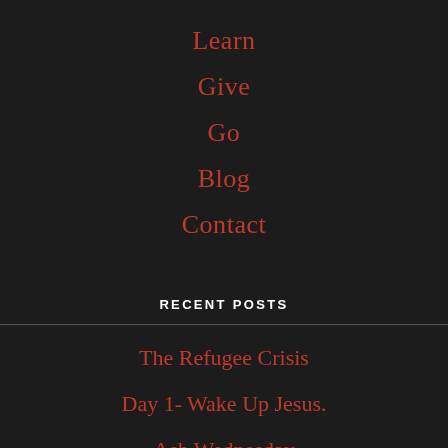Learn
Give
Go
Blog
Contact
RECENT POSTS
The Refugee Crisis
Day 1- Wake Up Jesus.
Ash Wednesday
Lent is upon us